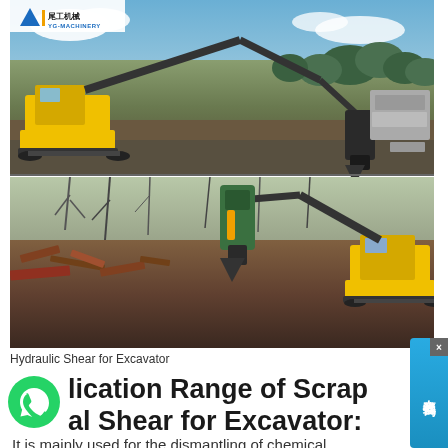[Figure (photo): Two photos of hydraulic shear attachments on excavators: top photo shows a yellow excavator with shear attachment demolishing concrete blocks outdoors; bottom photo shows an excavator with hydraulic shear working in a scrap metal yard. YG-MACHINERY logo visible in top-left corner of the top photo.]
Hydraulic Shear for Excavator
Application Range of Scrap Metal Shear for Excavator:
It is mainly used for the dismantling of chemical